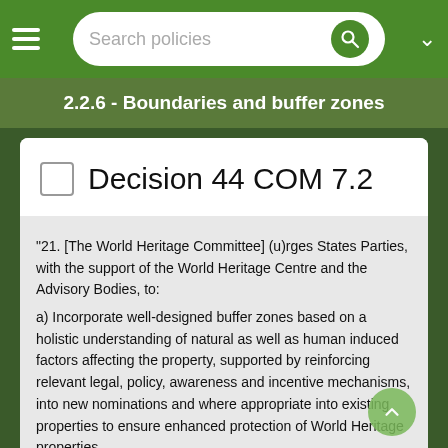Search policies
2.2.6 - Boundaries and buffer zones
Decision 44 COM 7.2
"21. [The World Heritage Committee] (u)rges States Parties, with the support of the World Heritage Centre and the Advisory Bodies, to:
a) Incorporate well-designed buffer zones based on a holistic understanding of natural as well as human induced factors affecting the property, supported by reinforcing relevant legal, policy, awareness and incentive mechanisms, into new nominations and where appropriate into existing properties to ensure enhanced protection of World Heritage properties,
b) Place particular emphasis on strategic environmental assessment and impact assessments for potential projects within buffer zones to avoid, negative impacts on OUV from developments and activities in these zones,